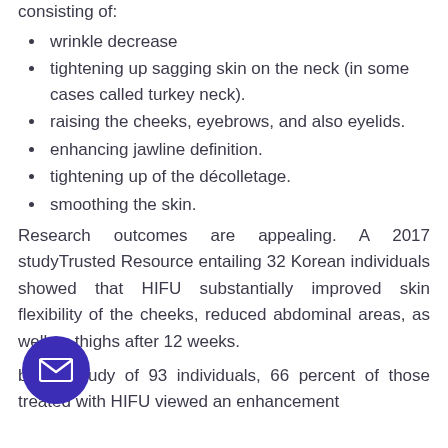consisting of:
wrinkle decrease
tightening up sagging skin on the neck (in some cases called turkey neck).
raising the cheeks, eyebrows, and also eyelids.
enhancing jawline definition.
tightening up of the décolletage.
smoothing the skin.
Research outcomes are appealing. A 2017 studyTrusted Resource entailing 32 Korean individuals showed that HIFU substantially improved skin flexibility of the cheeks, reduced abdominal areas, as well as thighs after 12 weeks.
bigger study of 93 individuals, 66 percent of those treated with HIFU viewed an enhancement